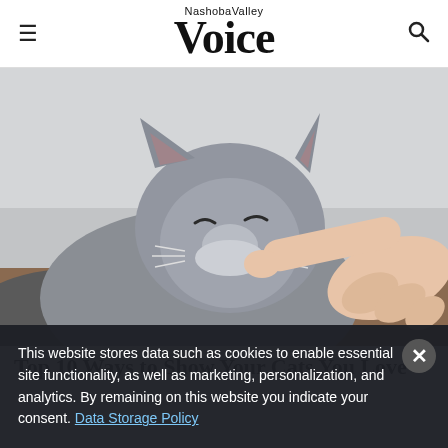Nashoba Valley Voice
[Figure (photo): A gray British Shorthair cat with eyes closed and a content expression being scratched under the chin by a human hand with one finger.]
Top 10 Ways to Show Your Cats You Love
This website stores data such as cookies to enable essential site functionality, as well as marketing, personalization, and analytics. By remaining on this website you indicate your consent. Data Storage Policy